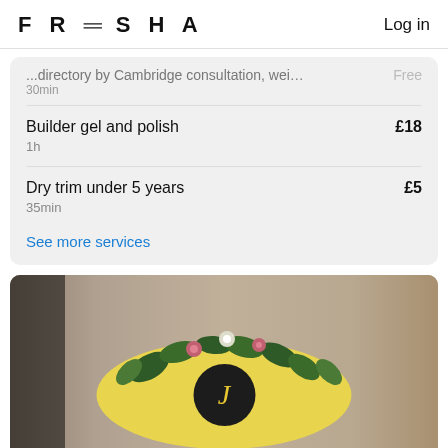FRESHA  Log in
...directory by Cambridge consultation, weigh in
30min
[price truncated]
Builder gel and polish  £18
1h
Dry trim under 5 years  £5
35min
See more services
[Figure (photo): Photo of a salon interior showing a yellow oval logo sign decorated with green foliage and pink flowers, with a dark circular emblem in the center containing a stylized letter J in gold. Background is a warm taupe/beige wall.]